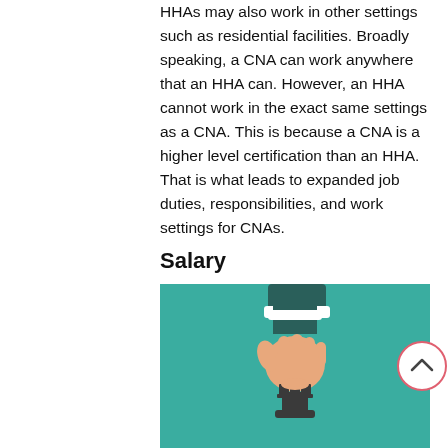HHAs may also work in other settings such as residential facilities. Broadly speaking, a CNA can work anywhere that an HHA can. However, an HHA cannot work in the exact same settings as a CNA. This is because a CNA is a higher level certification than an HHA. That is what leads to expanded job duties, responsibilities, and work settings for CNAs.
Salary
[Figure (illustration): Illustration on a teal/green background showing a hand in a dark green sleeve reaching down to pick up or place a chess piece (rook), depicted in a flat illustration style.]